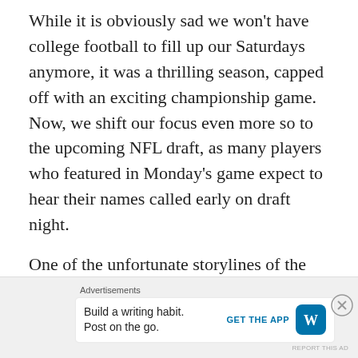While it is obviously sad we won't have college football to fill up our Saturdays anymore, it was a thrilling season, capped off with an exciting championship game. Now, we shift our focus even more so to the upcoming NFL draft, as many players who featured in Monday's game expect to hear their names called early on draft night.
One of the unfortunate storylines of the night though was the non-contact knee injury suffered by Jameson Williams. This came just about a month after his partner in crime, John
[Figure (other): Advertisement bar: 'Advertisements' label above a white box containing 'Build a writing habit. Post on the go.' with a 'GET THE APP' button and WordPress logo icon.]